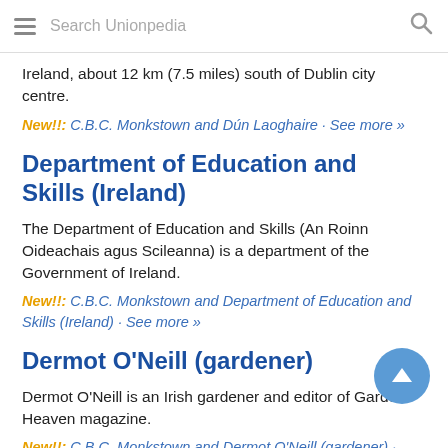Search Unionpedia
Ireland, about 12 km (7.5 miles) south of Dublin city centre.
New!!: C.B.C. Monkstown and Dún Laoghaire · See more »
Department of Education and Skills (Ireland)
The Department of Education and Skills (An Roinn Oideachais agus Scileanna) is a department of the Government of Ireland.
New!!: C.B.C. Monkstown and Department of Education and Skills (Ireland) · See more »
Dermot O'Neill (gardener)
Dermot O'Neill is an Irish gardener and editor of Garden Heaven magazine.
New!!: C.B.C. Monkstown and Dermot O'Neill (gardener) · See more »
Donal Courtney